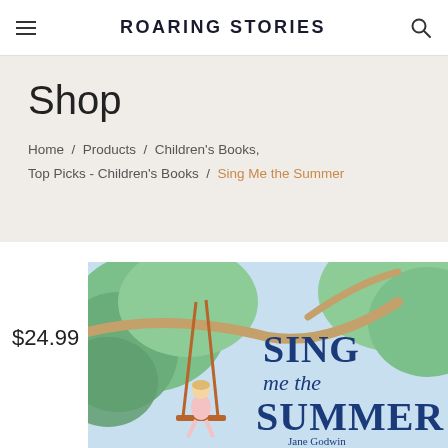ROARING STORIES
Shop
Home / Products / Children's Books, Top Picks - Children's Books / Sing Me the Summer
$24.99
[Figure (illustration): Book cover of 'Sing Me the Summer' showing a child on a rope swing among green trees, with bold blue text reading SING me the SUMMER and author name Jane Godwin below.]